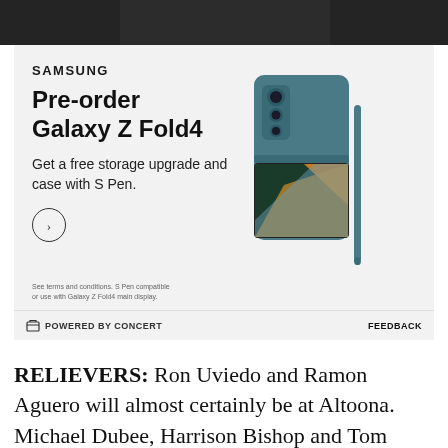[Figure (photo): Dark photo at top of page, partially visible]
[Figure (infographic): Samsung Galaxy Z Fold4 advertisement. Pre-order Galaxy Z Fold4. Get a free storage upgrade and case with S Pen. Shows phone image.]
RELIEVERS: Ron Uviedo and Ramon Aguero will almost certainly be at Altoona. Michael Dubee, Harrison Bishop and Tom Boleska are good bets as well. Beyond that, it's tough to speculate, since much depends on what happens with the starting pitchers.